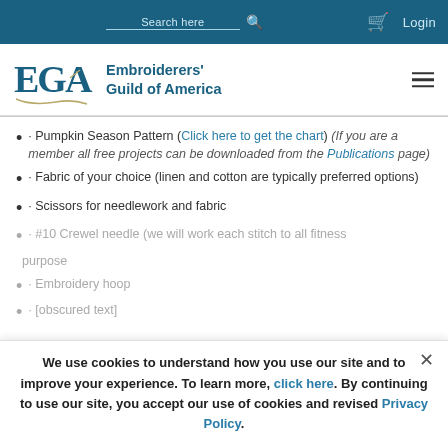Search here  Login [EGA nav bar]
[Figure (logo): EGA Embroiderers' Guild of America logo with teal text and gold script underline, hamburger menu icon on right]
· Pumpkin Season Pattern (Click here to get the chart) (If you are a member all free projects can be downloaded from the Publications page)
· Fabric of your choice (linen and cotton are typically preferred options)
· Scissors for needlework and fabric
· #10 Crewel needle (we will work each stitch to fitness [faded/partially obscured])
We use cookies to understand how you use our site and to improve your experience. To learn more, click here. By continuing to use our site, you accept our use of cookies and revised Privacy Policy.
· Embroidery hoop [faded]
· [partially obscured by overlay]